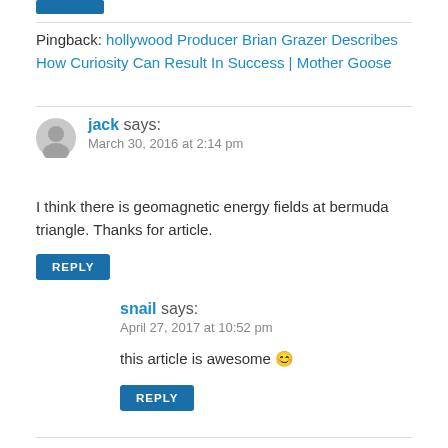Pingback: hollywood Producer Brian Grazer Describes How Curiosity Can Result In Success | Mother Goose
jack says: March 30, 2016 at 2:14 pm
I think there is geomagnetic energy fields at bermuda triangle. Thanks for article.
REPLY
snail says: April 27, 2017 at 10:52 pm
this article is awesome 😊
REPLY